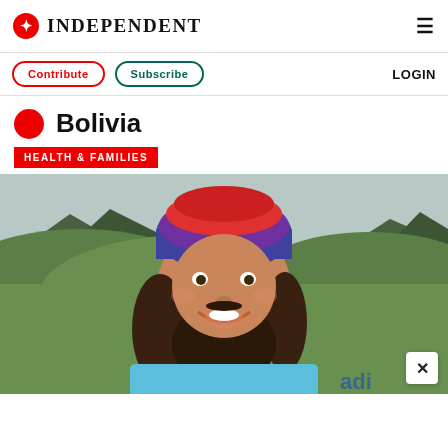INDEPENDENT
Contribute  Subscribe  LOGIN
Bolivia
HEALTH & FAMILIES
[Figure (photo): Smiling bearded man wearing a colourful knit beanie and blue Adidas t-shirt taking a selfie outdoors with green hills and mountains in the background.]